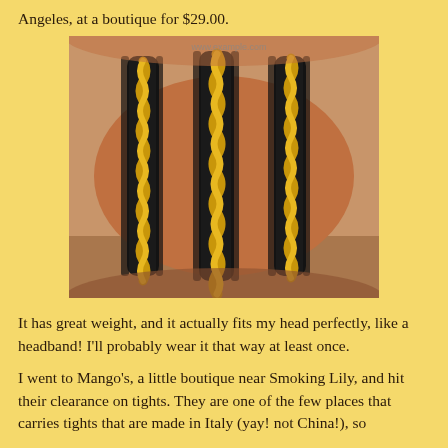Angeles, at a boutique for $29.00.
[Figure (photo): A wrist wearing a black and gold chain wrap bracelet, showing three loops of gold curb chain stitched onto black textured fabric.]
It has great weight, and it actually fits my head perfectly, like a headband! I'll probably wear it that way at least once.
I went to Mango's, a little boutique near Smoking Lily, and hit their clearance on tights. They are one of the few places that carries tights that are made in Italy (yay! not China!), so